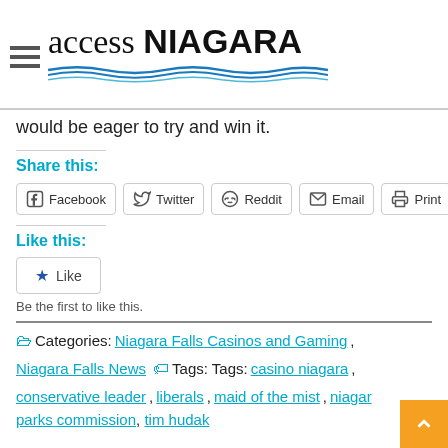access NIAGARA
would be eager to try and win it.
Share this:
Facebook  Twitter  Reddit  Email  Print
Like this:
Like
Be the first to like this.
Categories: Niagara Falls Casinos and Gaming, Niagara Falls News  Tags: Tags: casino niagara, conservative leader, liberals, maid of the mist, niagara parks commission, tim hudak